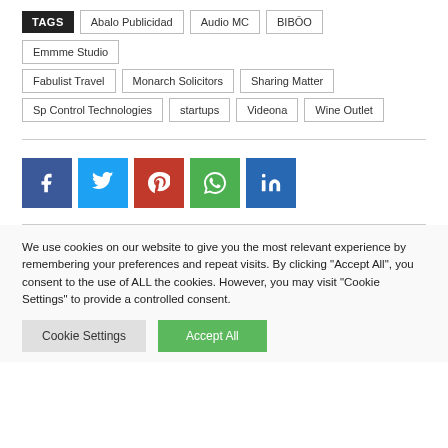TAGS: Abalo Publicidad, Audio MC, BIBŌO, Emmme Studio, Fabulist Travel, Monarch Solicitors, Sharing Matter, Sp Control Technologies, startups, Videona, Wine Outlet
[Figure (infographic): Social share buttons: Facebook (blue), Twitter (light blue), Pinterest (red), WhatsApp (green), LinkedIn (dark blue)]
We use cookies on our website to give you the most relevant experience by remembering your preferences and repeat visits. By clicking "Accept All", you consent to the use of ALL the cookies. However, you may visit "Cookie Settings" to provide a controlled consent.